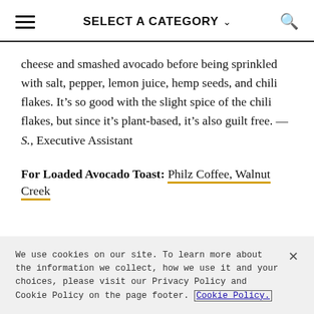SELECT A CATEGORY
cheese and smashed avocado before being sprinkled with salt, pepper, lemon juice, hemp seeds, and chili flakes. It’s so good with the slight spice of the chili flakes, but since it’s plant-based, it’s also guilt free. —S., Executive Assistant
For Loaded Avocado Toast: Philz Coffee, Walnut Creek
We use cookies on our site. To learn more about the information we collect, how we use it and your choices, please visit our Privacy Policy and Cookie Policy on the page footer. Cookie Policy.